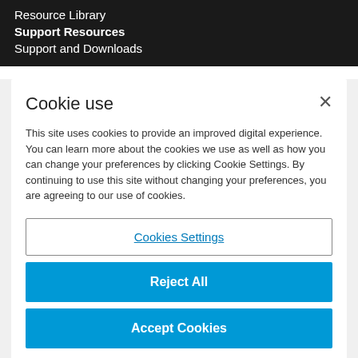Resource Library
Support Resources
Support and Downloads
Cookie use
This site uses cookies to provide an improved digital experience. You can learn more about the cookies we use as well as how you can change your preferences by clicking Cookie Settings. By continuing to use this site without changing your preferences, you are agreeing to our use of cookies.
Cookies Settings
Reject All
Accept Cookies